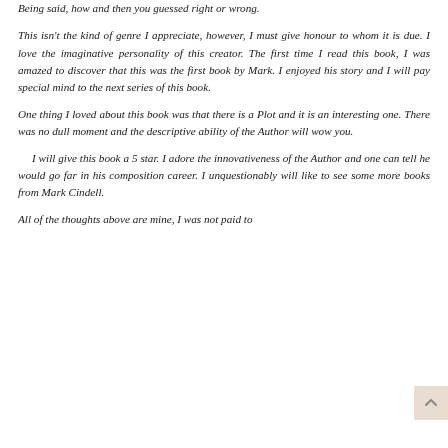Being said, how and then you guessed right or wrong.
This isn't the kind of genre I appreciate, however, I must give honour to whom it is due. I love the imaginative personality of this creator. The first time I read this book, I was amazed to discover that this was the first book by Mark. I enjoyed his story and I will pay special mind to the next series of this book.
One thing I loved about this book was that there is a Plot and it is an interesting one. There was no dull moment and the descriptive ability of the Author will wow you.
I will give this book a 5 star. I adore the innovativeness of the Author and one can tell he would go far in his composition career. I unquestionably will like to see some more books from Mark Cindell.
All of the thoughts above are mine, I was not paid to